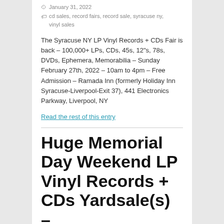January 31, 2022
cd sales, record fairs, record sale, syracuse ny, vinyl sales
The Syracuse NY LP Vinyl Records + CDs Fair is back – 100,000+ LPs, CDs, 45s, 12"s, 78s, DVDs, Ephemera, Memorabilia – Sunday February 27th, 2022 – 10am to 4pm – Free Admission – Ramada Inn (formerly Holiday Inn Syracuse-Liverpool-Exit 37), 441 Electronics Parkway, Liverpool, NY
Read the rest of this entry
Huge Memorial Day Weekend LP Vinyl Records + CDs Yardsale(s) –